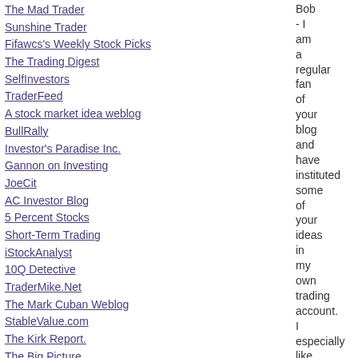The Mad Trader
Sunshine Trader
Fifawcs's Weekly Stock Picks
The Trading Digest
SelfInvestors
TraderFeed
A stock market idea weblog
BullRally
Investor's Paradise Inc.
Gannon on Investing
JoeCit
AC Investor Blog
5 Percent Stocks
Short-Term Trading
iStockAnalyst
10Q Detective
TraderMike.Net
The Mark Cuban Weblog
StableValue.com
The Kirk Report.
The Big Picture
Footnoted.org
Bill Cara
Byrne's Eye View
bloghaub
Hap's Dustbin
Bob - I am a regular fan of your blog and have instituted some of your ideas in my own trading account. I especially like the disciplined sales strategy.